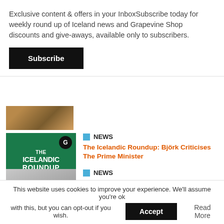Exclusive content & offers in your InboxSubscribe today for weekly round up of Iceland news and Grapevine Shop discounts and give-aways, available only to subscribers.
Subscribe
[Figure (photo): Partial thumbnail image of brown/orange landscape]
[Figure (photo): The Icelandic Roundup green branded thumbnail with G badge]
NEWS
The Icelandic Roundup: Björk Criticises The Prime Minister
[Figure (photo): Climate change black and white landscape photo with silhouette]
NEWS
Climate Change Brings Irreversable Consequences, Icelanders Must Prepare
This website uses cookies to improve your experience. We'll assume you're ok with this, but you can opt-out if you wish.
Accept
Read More